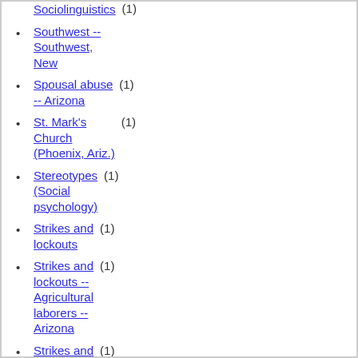Sociolinguistics (1)
Southwest -- Southwest, New
Spousal abuse -- Arizona (1)
St. Mark's Church (Phoenix, Ariz.) (1)
Stereotypes (Social psychology) (1)
Strikes and lockouts (1)
Strikes and lockouts -- Agricultural laborers -- Arizona (1)
Strikes and lockouts -- Agricultural laborers -- Texas (1)
Strikes and lockouts -- Clothing trade (1)
Strikes and lockouts --